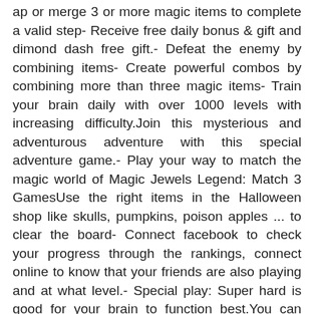ap or merge 3 or more magic items to complete a valid step- Receive free daily bonus & gift and dimond dash free gift.- Defeat the enemy by combining items- Create powerful combos by combining more than three magic items- Train your brain daily with over 1000 levels with increasing difficulty.Join this mysterious and adventurous adventure with this special adventure game.- Play your way to match the magic world of Magic Jewels Legend: Match 3 GamesUse the right items in the Halloween shop like skulls, pumpkins, poison apples ... to clear the board- Connect facebook to check your progress through the rankings, connect online to know that your friends are also playing and at what level.- Special play: Super hard is good for your brain to function best.You can download free games and play offline games completely because this is not an online game.- When playing a game, you also have to have rational tactics to not spend your time and completely immersive character- You can play games anywhere, anytime, even when you're digging gold, playing sports, on the bus, playing cards, on the airplane or on a train.You can